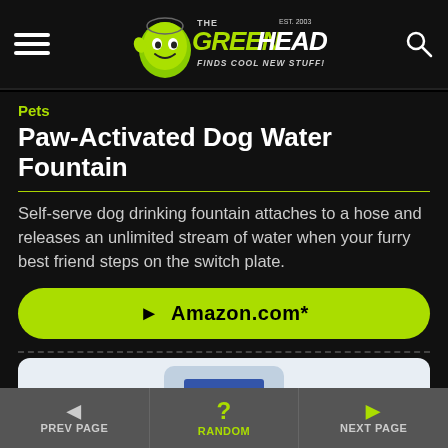THE GREEN HEAD – FINDS COOL NEW STUFF!
Pets
Paw-Activated Dog Water Fountain
Self-serve dog drinking fountain attaches to a hose and releases an unlimited stream of water when your furry best friend steps on the switch plate.
▶  Amazon.com*
[Figure (photo): Partial view of a dog water fountain product image at the bottom of the page]
PREV PAGE   RANDOM   NEXT PAGE